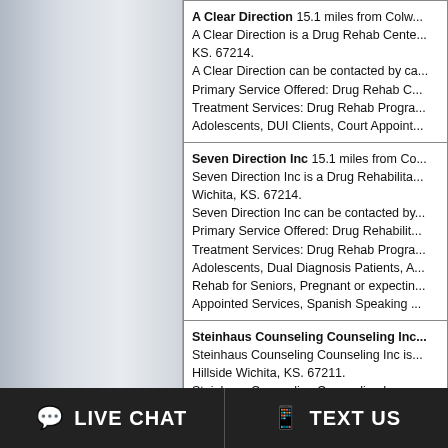A Clear Direction 15.1 miles from Colw... A Clear Direction is a Drug Rehab Center... KS. 67214. A Clear Direction can be contacted by ca... Primary Service Offered: Drug Rehab C... Treatment Services: Drug Rehab Progra... Adolescents, DUI Clients, Court Appoint...
Seven Direction Inc 15.1 miles from Co... Seven Direction Inc is a Drug Rehabilita... Wichita, KS. 67214. Seven Direction Inc can be contacted by... Primary Service Offered: Drug Rehabilit... Treatment Services: Drug Rehab Progra... Adolescents, Dual Diagnosis Patients, A... Rehab for Seniors, Pregnant or expectin... Appointed Services, Spanish Speaking...
Steinhaus Counseling Counseling Inc... Steinhaus Counseling Counseling Inc is... Hillside Wichita, KS. 67211. Steinhaus Counseling Counseling Inc ca... Primary Service Offered: Drug Treatmen... Treatment Services: Drug Rehab Progra... Adolescents, Dual Diagnosis Patients, C...
LIVE CHAT
TEXT US